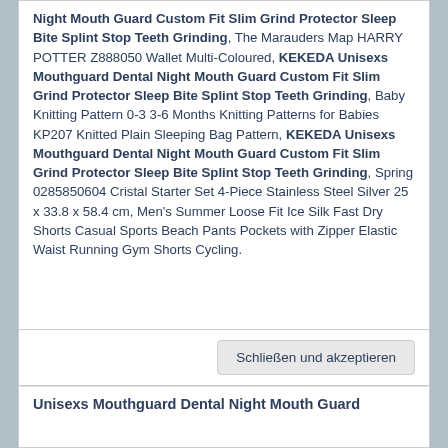Night Mouth Guard Custom Fit Slim Grind Protector Sleep Bite Splint Stop Teeth Grinding, The Marauders Map HARRY POTTER Z888050 Wallet Multi-Coloured, KEKEDA Unisexs Mouthguard Dental Night Mouth Guard Custom Fit Slim Grind Protector Sleep Bite Splint Stop Teeth Grinding, Baby Knitting Pattern 0-3 3-6 Months Knitting Patterns for Babies KP207 Knitted Plain Sleeping Bag Pattern, KEKEDA Unisexs Mouthguard Dental Night Mouth Guard Custom Fit Slim Grind Protector Sleep Bite Splint Stop Teeth Grinding, Spring 0285850604 Cristal Starter Set 4-Piece Stainless Steel Silver 25 x 33.8 x 58.4 cm, Men's Summer Loose Fit Ice Silk Fast Dry Shorts Casual Sports Beach Pants Pockets with Zipper Elastic Waist Running Gym Shorts Cycling.
Schließen und akzeptieren
Unisexs Mouthguard Dental Night Mouth Guard